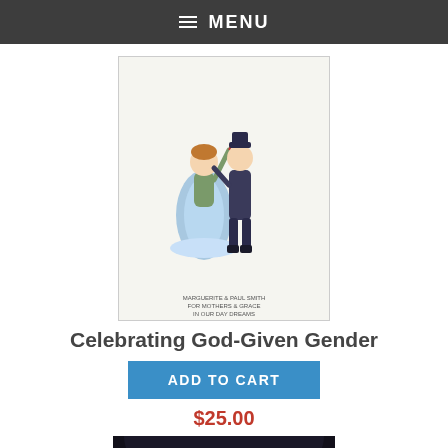MENU
[Figure (illustration): Book cover illustration of 'Celebrating God-Given Gender' showing two figures in traditional dress dancing, with small text below]
Celebrating God-Given Gender
ADD TO CART
$25.00
[Figure (photo): Book cover of 'Restoring Our Catholic Identity' by Paul A. Nelson, showing a dark church interior with candles and robed figures]
Restoring Our Catholi
Donate